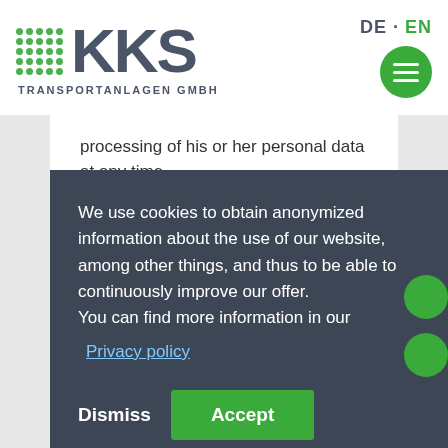[Figure (logo): KKS Transportanlagen GmbH logo with green dot grid and gray KKS text]
processing of his or her personal data at any time.
We use cookies to obtain anonymized information about the use of our website, among other things, and thus to be able to continuously improve our offer.
You can find more information in our
Privacy policy
Dismiss   Accept
the component of Google Analytics (with the